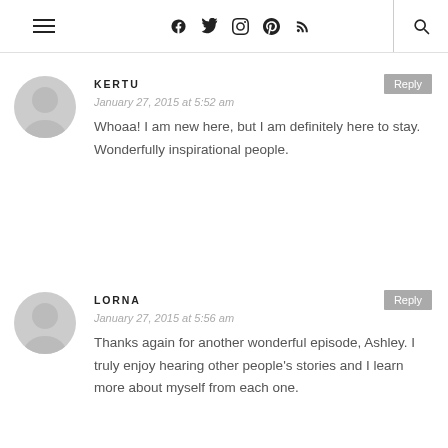Navigation bar with hamburger menu, social icons (Facebook, Twitter, Instagram, Pinterest, RSS), and search icon
KERTU
January 27, 2015 at 5:52 am
Whoaa! I am new here, but I am definitely here to stay. Wonderfully inspirational people.
LORNA
January 27, 2015 at 5:56 am
Thanks again for another wonderful episode, Ashley. I truly enjoy hearing other people's stories and I learn more about myself from each one.